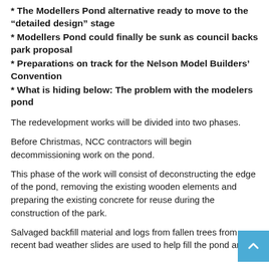* The Modellers Pond alternative ready to move to the “detailed design” stage
* Modellers Pond could finally be sunk as council backs park proposal
* Preparations on track for the Nelson Model Builders’ Convention
* What is hiding below: The problem with the modelers pond
The redevelopment works will be divided into two phases.
Before Christmas, NCC contractors will begin decommissioning work on the pond.
This phase of the work will consist of deconstructing the edge of the pond, removing the existing wooden elements and preparing the existing concrete for reuse during the construction of the park.
Salvaged backfill material and logs from fallen trees from recent bad weather slides are used to help fill the pond and